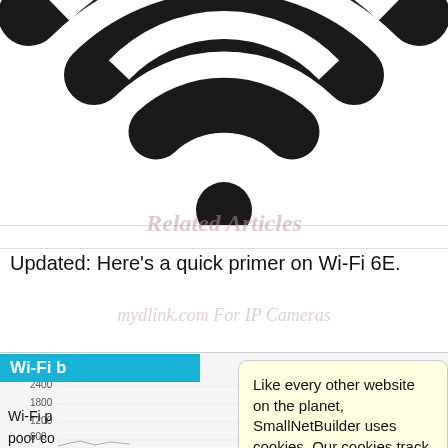[Figure (illustration): Large Wi-Fi signal / RSS feed icon in black and white at the top of the page]
Related Articles
mydlink.com For IP Cameras
Updated: Here's a quick primer on Wi-Fi 6E.
Wi-Fi b
[Figure (line-chart): Wi-Fi performance line chart with y-axis labels 2400, 1800, 1200, 600, 0]
Like every other website on the planet, SmallNetBuilder uses cookies. Our cookies track login status, but we only allow admins to log in anyway, so those don't apply to you. Any other cookies you pick up during your visit come from advertisers, which we don't control.
If you continue to use the site, you agree to tolerate our use of cookies. Thank you!
Wi-Fi p
poor co
d by a
could